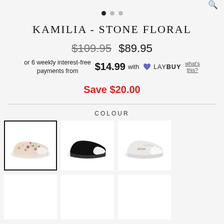KAMILIA - STONE FLORAL
$109.95  $89.95
or 6 weekly interest-free payments from $14.99 with LAYBUY what's this?
Save $20.00
COLOUR
[Figure (photo): Floral canvas sneaker - stone floral pattern, selected colour (bordered)]
[Figure (photo): Black leather sneaker]
[Figure (photo): White canvas sneaker]
[Figure (photo): Partial shoe thumbnail bottom row left]
[Figure (photo): Partial shoe thumbnail bottom row center]
[Figure (photo): Partial shoe thumbnail bottom row right]